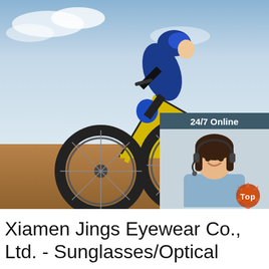[Figure (photo): A mountain bike cyclist in blue and black gear riding aggressively on a dirt/sandy terrain, bike is yellow. Sky is blue with clouds in the background.]
24/7 Online
[Figure (photo): A smiling woman with dark hair wearing a headset microphone, representing a customer service agent.]
Click here for free chat !
QUOTATION
[Figure (illustration): A decorative 'TOP' badge with orange and brown star/circle decorations.]
Xiamen Jings Eyewear Co., Ltd. - Sunglasses/Optical